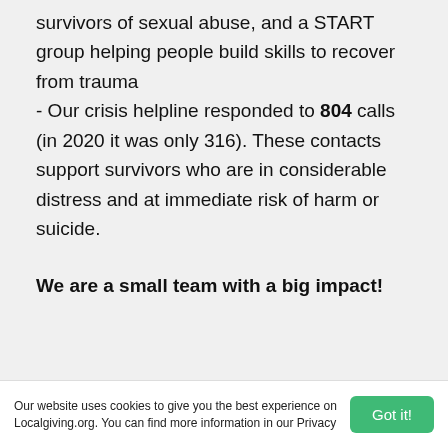survivors of sexual abuse, and a START group helping people build skills to recover from trauma
- Our crisis helpline responded to 804 calls (in 2020 it was only 316). These contacts support survivors who are in considerable distress and at immediate risk of harm or suicide.
We are a small team with a big impact!
Our website uses cookies to give you the best experience on Localgiving.org. You can find more information in our Privacy